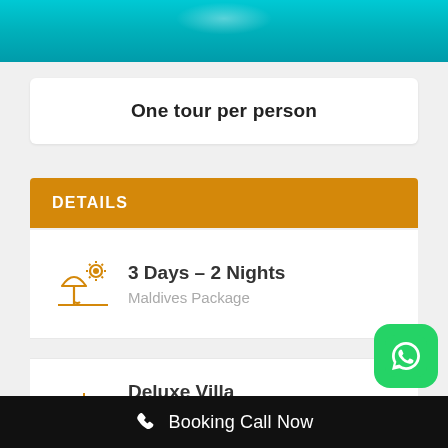[Figure (photo): Aerial view of turquoise ocean water with sandy formations, partial view at top of page]
One tour per person
DETAILS
3 Days – 2 Nights
Maldives Package
Deluxe Villa
Resort Rooms
[Figure (logo): WhatsApp green logo button]
Booking Call Now